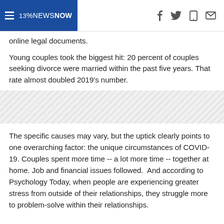13NewsNow
online legal documents.
Young couples took the biggest hit: 20 percent of couples seeking divorce were married within the past five years. That rate almost doubled 2019’s number.
[Figure (other): Diagonal stripe decorative divider band]
The specific causes may vary, but the uptick clearly points to one overarching factor: the unique circumstances of COVID-19. Couples spent more time -- a lot more time -- together at home. Job and financial issues followed.  And according to Psychology Today, when people are experiencing greater stress from outside of their relationships, they struggle more to problem-solve within their relationships.